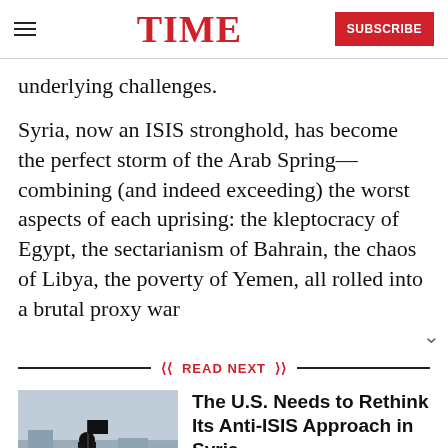TIME
underlying challenges.
Syria, now an ISIS stronghold, has become the perfect storm of the Arab Spring— combining (and indeed exceeding) the worst aspects of each uprising: the kleptocracy of Egypt, the sectarianism of Bahrain, the chaos of Libya, the poverty of Yemen, all rolled into a brutal proxy war
READ NEXT
[Figure (photo): Photo of a person in black clothing holding a flag in an urban street scene]
The U.S. Needs to Rethink Its Anti-ISIS Approach in Syria